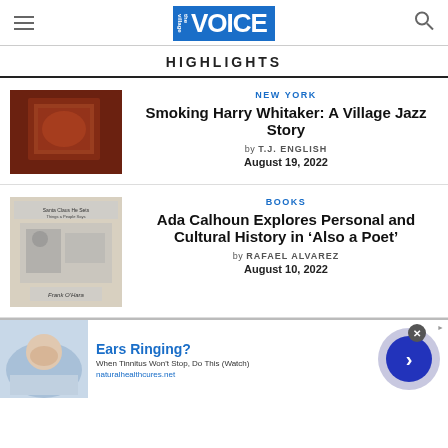the village VOICE
HIGHLIGHTS
[Figure (photo): Dark reddish-toned photo of a framed jazz artwork or photograph on a wall]
NEW YORK
Smoking Harry Whitaker: A Village Jazz Story
by T.J. ENGLISH
August 19, 2022
[Figure (photo): Black and white newspaper clipping showing people at a table, with caption 'Frank O'Hara']
BOOKS
Ada Calhoun Explores Personal and Cultural History in ‘Also a Poet’
by RAFAEL ALVAREZ
August 10, 2022
[Figure (photo): Advertisement: Person lying down, Ears Ringing? When Tinnitus Won't Stop, Do This (Watch). naturalhealthcures.net]
Ears Ringing? When Tinnitus Won't Stop, Do This (Watch) naturalhealthcures.net